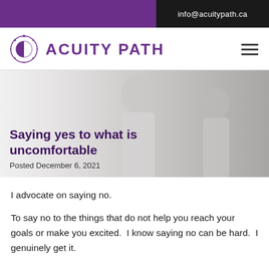info@acuitypath.ca
[Figure (logo): Acuity Path logo with circular half-moon icon and purple wordmark 'ACUITY PATH']
Saying yes to what is uncomfortable
Posted December 6, 2021
[Figure (photo): Two women in conversation, grayscale background photo]
I advocate on saying no.
To say no to the things that do not help you reach your goals or make you excited.  I know saying no can be hard.  I genuinely get it.